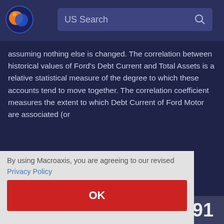[Figure (logo): Macroaxis logo — orange and blue globe icon]
US Search
assuming nothing else is changed. The correlation between historical values of Ford's Debt Current and Total Assets is a relative statistical measure of the degree to which these accounts tend to move together. The correlation coefficient measures the extent to which Debt Current of Ford Motor are associated (or
lation ion of  on nt mly.
By using Macroaxis, you are agreeing to our revised Privacy Policy
OK
91